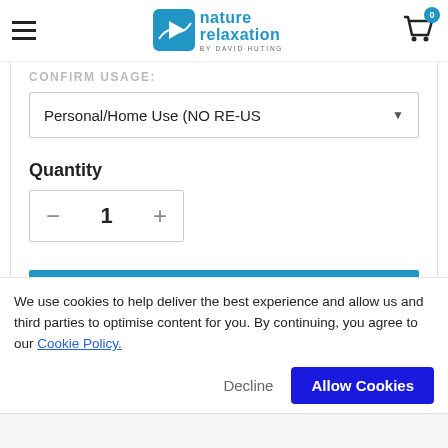Nature Relaxation by David Huting — navigation header with cart showing 0 items
CONFIRM USAGE:
Personal/Home Use (NO RE-US...
Quantity
1
ADD TO CART
We use cookies to help deliver the best experience and allow us and third parties to optimise content for you. By continuing, you agree to our Cookie Policy.
Decline
Allow Cookies